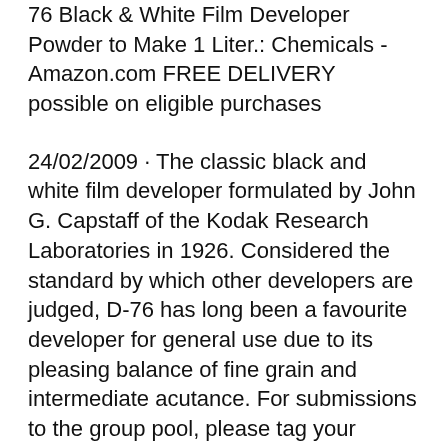76 Black & White Film Developer Powder to Make 1 Liter.: Chemicals - Amazon.com FREE DELIVERY possible on eligible purchases
24/02/2009 · The classic black and white film developer formulated by John G. Capstaff of the Kodak Research Laboratories in 1926. Considered the standard by which other developers are judged, D-76 has long been a favourite developer for general use due to its pleasing balance of fine grain and intermediate acutance. For submissions to the group pool, please tag your images with "D-76" or "D76" if using KODAK Developer D-76 provides full emulsion speed and excellent shadow